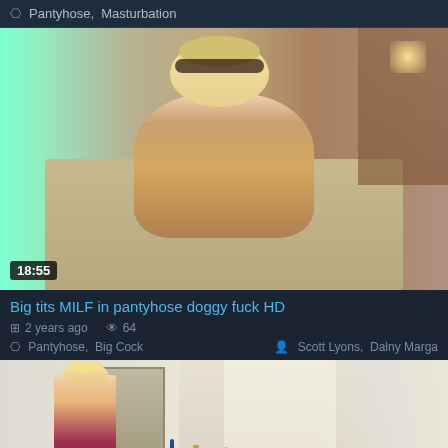Pantyhose,  Masturbation
[Figure (photo): Video thumbnail showing a blonde woman with glasses sitting on a couch, duration badge showing 18:55]
Big tits MILF in pantyhose doggy fuck HD
2 years ago   64
Pantyhose,  Big Cock       Scott Lyons,  Dalny Marga
[Figure (photo): Video thumbnail showing a blonde woman in a bright room with curtains and a dresser]